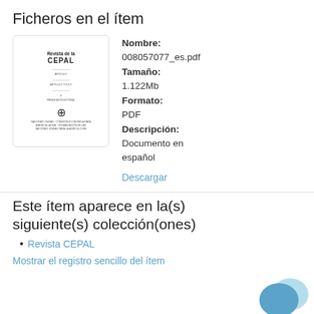Ficheros en el ítem
[Figure (other): Thumbnail of a document cover: Revista de la CEPAL with UN emblem and footer text]
Nombre: 008057077_es.pdf
Tamaño: 1.122Mb
Formato: PDF
Descripción: Documento en español
Descargar
Este ítem aparece en la(s) siguiente(s) colección(ones)
Revista CEPAL
Mostrar el registro sencillo del ítem